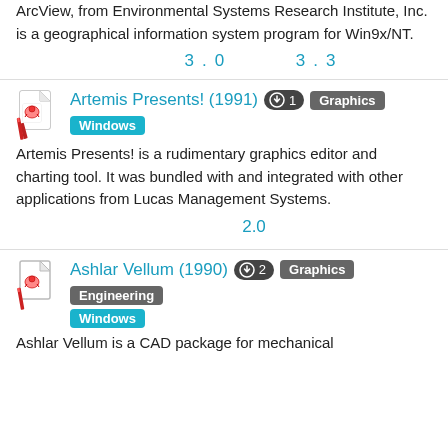ArcView, from Environmental Systems Research Institute, Inc. is a geographical information system program for Win9x/NT.
3.0   3.3
Artemis Presents! (1991)
Artemis Presents! is a rudimentary graphics editor and charting tool. It was bundled with and integrated with other applications from Lucas Management Systems.
2.0
Ashlar Vellum (1990)
Ashlar Vellum is a CAD package for mechanical